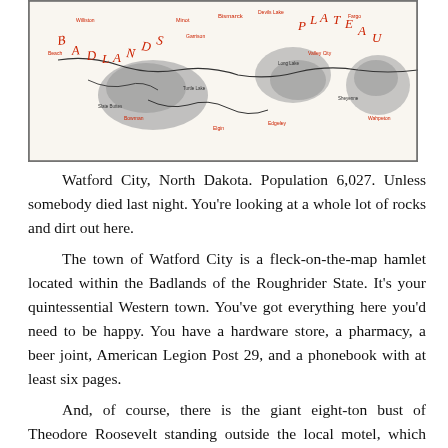[Figure (map): A map of North Dakota showing the Badlands and Plateau regions, with various town names and geographic features labeled in red and black text, and shaded areas representing terrain.]
Watford City, North Dakota. Population 6,027. Unless somebody died last night. You're looking at a whole lot of rocks and dirt out here.
The town of Watford City is a fleck-on-the-map hamlet located within the Badlands of the Roughrider State. It's your quintessential Western town. You've got everything here you'd need to be happy. You have a hardware store, a pharmacy, a beer joint, American Legion Post 29, and a phonebook with at least six pages.
And, of course, there is the giant eight-ton bust of Theodore Roosevelt standing outside the local motel, which attracts dozens of tourists each year.
Senior prom was last week, which is a big deal in a town